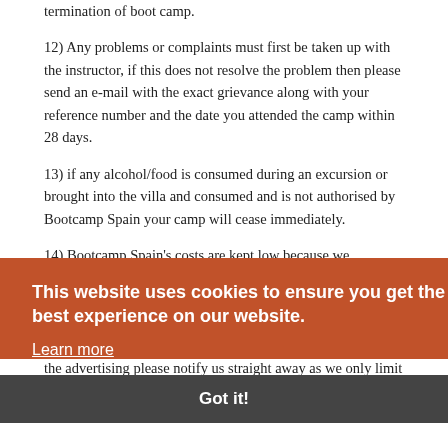termination of boot camp.
12) Any problems or complaints must first be taken up with the instructor, if this does not resolve the problem then please send an e-mail with the exact grievance along with your reference number and the date you attended the camp within 28 days.
13) if any alcohol/food is consumed during an excursion or brought into the villa and consumed and is not authorised by Bootcamp Spain your camp will cease immediately.
14) Bootcamp Spain's costs are kept low because we advertise on social media platforms and we expect you to help with this on your own social media. However, we realize people in certain jobs or celebrity status may not want this. If you do not wish to be on social media or help with any of the advertising please notify us straight away as we only limit this to a percentage of the camp. Obviously, if we couldn't
This website uses cookies to ensure you get the best experience on our website.
Learn more
Got it!